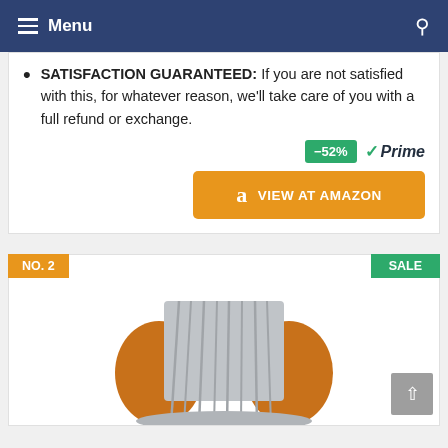Menu
SATISFACTION GUARANTEED: If you are not satisfied with this, for whatever reason, we'll take care of you with a full refund or exchange.
[Figure (other): Discount badge showing -52% and Amazon Prime checkmark logo]
[Figure (other): Orange button with Amazon logo and text VIEW AT AMAZON]
NO. 2
SALE
[Figure (photo): A gray blanket draped over an orange bean bag chair]